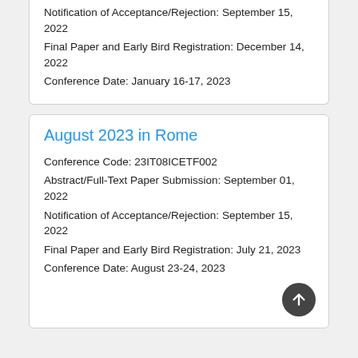Notification of Acceptance/Rejection: September 15, 2022
Final Paper and Early Bird Registration: December 14, 2022
Conference Date: January 16-17, 2023
August 2023 in Rome
Conference Code: 23IT08ICETF002
Abstract/Full-Text Paper Submission: September 01, 2022
Notification of Acceptance/Rejection: September 15, 2022
Final Paper and Early Bird Registration: July 21, 2023
Conference Date: August 23-24, 2023